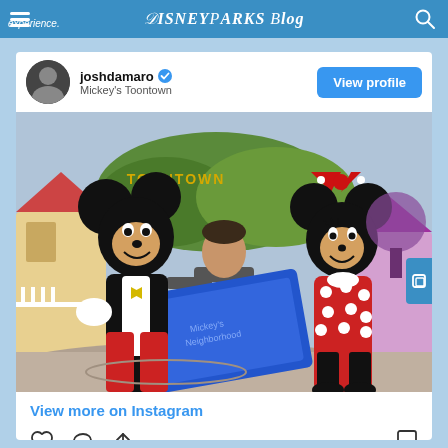Disney Parks Blog
experience.
joshdamaro ✓
Mickey's Toontown
View profile
[Figure (photo): Josh D'Amaro posing with Mickey Mouse and Minnie Mouse in front of Mickey's Toontown at Disneyland, holding a large blue blueprint/plans book]
View more on Instagram